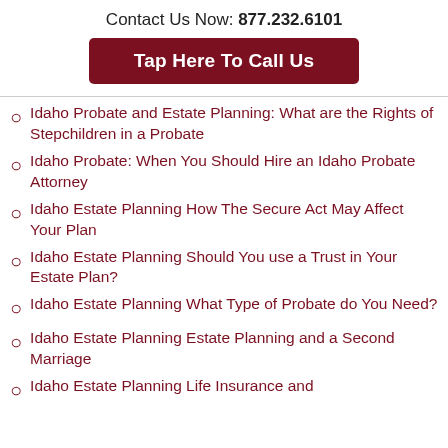Contact Us Now: 877.232.6101
Tap Here To Call Us
Idaho Probate and Estate Planning: What are the Rights of Stepchildren in a Probate
Idaho Probate: When You Should Hire an Idaho Probate Attorney
Idaho Estate Planning How The Secure Act May Affect Your Plan
Idaho Estate Planning Should You use a Trust in Your Estate Plan?
Idaho Estate Planning What Type of Probate do You Need?
Idaho Estate Planning Estate Planning and a Second Marriage
Idaho Estate Planning Life Insurance and